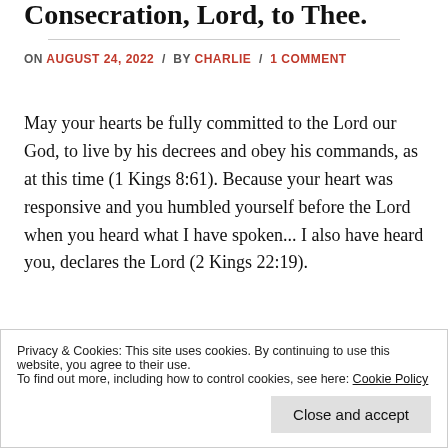Consecration, Lord, to Thee.
ON AUGUST 24, 2022 / BY CHARLIE / 1 COMMENT
May your hearts be fully committed to the Lord our God, to live by his decrees and obey his commands, as at this time (1 Kings 8:61). Because your heart was responsive and you humbled yourself before the Lord when you heard what I have spoken... I also have heard you, declares the Lord (2 Kings 22:19).
Privacy & Cookies: This site uses cookies. By continuing to use this website, you agree to their use.
To find out more, including how to control cookies, see here: Cookie Policy
Close and accept